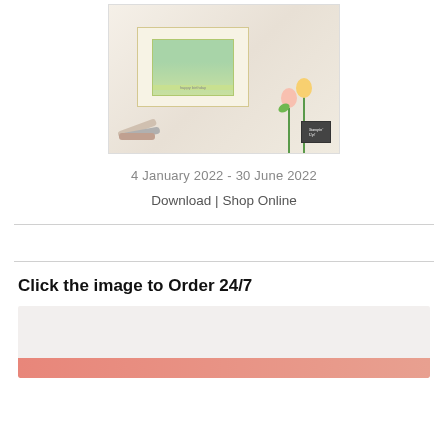[Figure (photo): Stampin Up catalog cover showing a handmade card with windmill, tulips, markers, ribbon, and a chalkboard logo badge]
4 January 2022 - 30 June 2022
Download | Shop Online
Click the image to Order 24/7
[Figure (photo): Partially visible product image with pink/salmon accent bar at bottom]